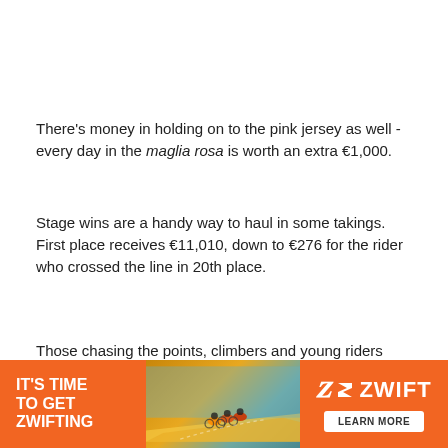There's money in holding on to the pink jersey as well - every day in the maglia rosa is worth an extra €1,000.
Stage wins are a handy way to haul in some takings. First place receives €11,010, down to €276 for the rider who crossed the line in 20th place.
Those chasing the points, climbers and young riders jerseys are rewarded with some spending money too.
Proving themselves to be the strongest sprinter on a stage earns the top three riders between €200 and €800, whilst a
[Figure (other): Orange Zwift advertisement banner with text 'IT'S TIME TO GET ZWIFTING', an image of cyclists on a road, and Zwift logo with 'LEARN MORE' button]